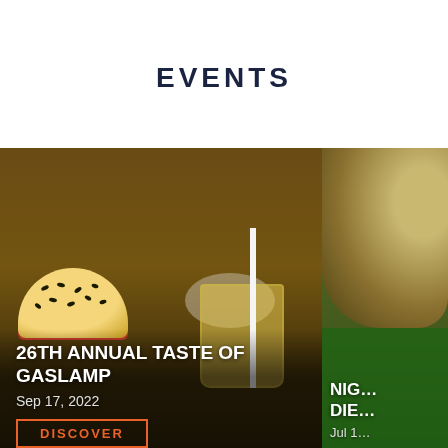EVENTS
[Figure (photo): Food event card showing a sesame seed slider bun with tomato, a small food cup, a straw in a yellow drink. Overlay text: 26TH ANNUAL TASTE OF GASLAMP, Sep 17, 2022, DISCOVER button.]
[Figure (photo): Partially visible second event card showing an animal (dog or sloth) and green background. Overlay text: NIG... DIE..., Jul 1...]